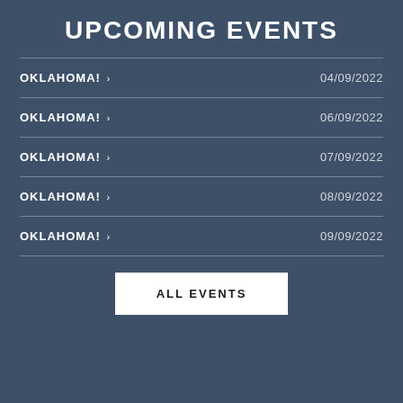UPCOMING EVENTS
OKLAHOMA! › 04/09/2022
OKLAHOMA! › 06/09/2022
OKLAHOMA! › 07/09/2022
OKLAHOMA! › 08/09/2022
OKLAHOMA! › 09/09/2022
ALL EVENTS